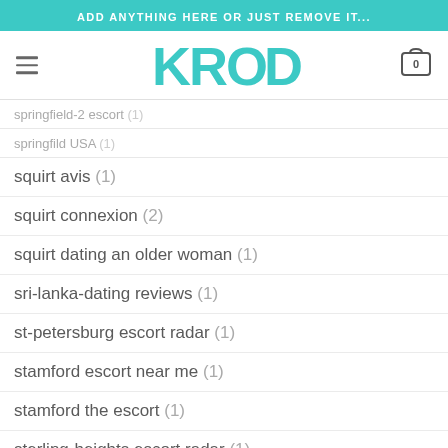ADD ANYTHING HERE OR JUST REMOVE IT...
[Figure (logo): KROQ logo in teal/cyan color with hamburger menu and cart icon]
springfield-2 escort (?)
springfild USA (?)
squirt avis (1)
squirt connexion (2)
squirt dating an older woman (1)
sri-lanka-dating reviews (1)
st-petersburg escort radar (1)
stamford escort near me (1)
stamford the escort (1)
sterling-heights escort radar (1)
stockton escort (1)